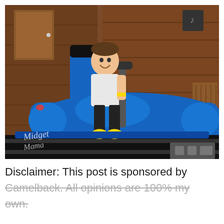[Figure (photo): A young child smiling and sitting in a blue bumper car / go-kart ride vehicle, holding a steering handle. The background shows a wooden wall interior. A watermark reads 'Midget Mama' in the lower left corner.]
Disclaimer: This post is sponsored by Camelback. All opinions are 100% my own.